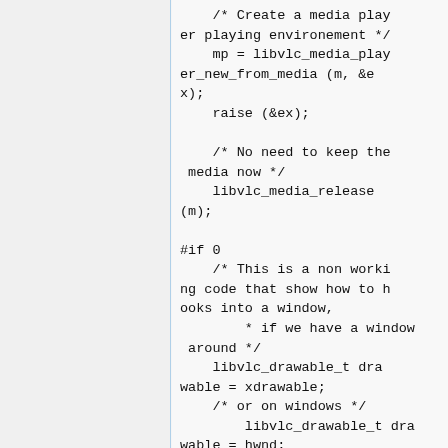[Figure (other): Left sidebar panel, light gray background with blue vertical border line]
/* Create a media player playing environement */
    mp = libvlc_media_player_new_from_media (m, &ex);
    raise (&ex);

    /* No need to keep the media now */
    libvlc_media_release (m);

#if 0
    /* This is a non working code that show how to hooks into a window,
        * if we have a window around */
    libvlc_drawable_t drawable = xdrawable;
    /* or on windows */
        libvlc_drawable_t drawable = hwnd;

        libvlc_media_player_s